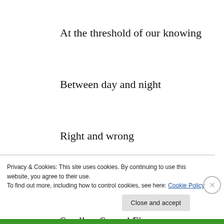At the threshold of our knowing
Between day and night
Right and wrong
Wild and civilized
Swells a Sacred Fire
Little flame of inner truth
Privacy & Cookies: This site uses cookies. By continuing to use this website, you agree to their use.
To find out more, including how to control cookies, see here: Cookie Policy
Close and accept